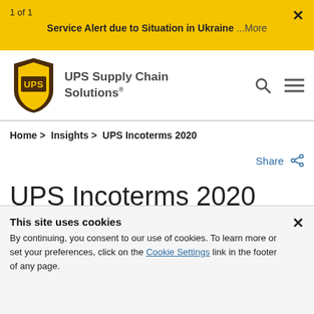1 of 1
Service Alert due to Situation in Ukraine ...More
[Figure (logo): UPS Supply Chain Solutions logo with UPS shield emblem and text]
Home > Insights > UPS Incoterms 2020
Share
UPS Incoterms 2020
This site uses cookies
By continuing, you consent to our use of cookies. To learn more or set your preferences, click on the Cookie Settings link in the footer of any page.